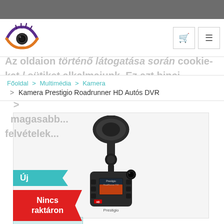[Figure (logo): Eye/camera logo with purple and orange stylized eye shape]
Az oldaion történő látogatása során cookie-kat / sütiket alkalmaiunk. Ez azt binci. Intormác... magasabb... Kattintva... felvételek...
Főoldal > Multimédia > Kamera > Kamera Prestigio Roadrunner HD Autós DVR
[Figure (photo): Prestigio Roadrunner HD dashcam product photo, black camera mounted on suction cup mount]
Új
Nincs raktáron